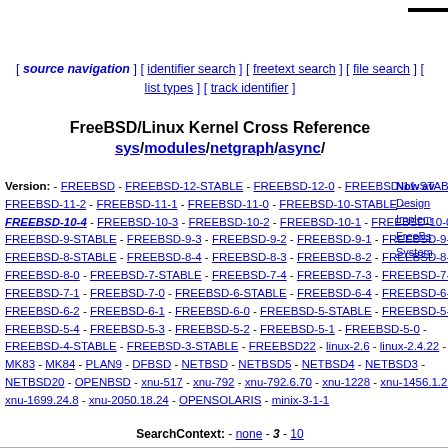[ source navigation ] [ identifier search ] [ freetext search ] [ file search ] [ list types ] [ track identifier ]
FreeBSD/Linux Kernel Cross Reference sys/modules/netgraph/async/
Version: - FREEBSD - FREEBSD-12-STABLE - FREEBSD-12-0 - FREEBSD-11-STABLE - FREEBSD-11-2 - FREEBSD-11-1 - FREEBSD-11-0 - FREEBSD-10-STABLE - FREEBSD-10-4 - FREEBSD-10-3 - FREEBSD-10-2 - FREEBSD-10-1 - FREEBSD-10-0 - FREEBSD-9-STABLE - FREEBSD-9-3 - FREEBSD-9-2 - FREEBSD-9-1 - FREEBSD-9-0 - FREEBSD-8-STABLE - FREEBSD-8-4 - FREEBSD-8-3 - FREEBSD-8-2 - FREEBSD-8-1 - FREEBSD-8-0 - FREEBSD-7-STABLE - FREEBSD-7-4 - FREEBSD-7-3 - FREEBSD-7-2 - FREEBSD-7-1 - FREEBSD-7-0 - FREEBSD-6-STABLE - FREEBSD-6-4 - FREEBSD-6-3 - FREEBSD-6-2 - FREEBSD-6-1 - FREEBSD-6-0 - FREEBSD-5-STABLE - FREEBSD-5-5 - FREEBSD-5-4 - FREEBSD-5-3 - FREEBSD-5-2 - FREEBSD-5-1 - FREEBSD-5-0 - FREEBSD-4-STABLE - FREEBSD-3-STABLE - FREEBSD22 - linux-2.6 - linux-2.4.22 - MK83 - MK84 - PLAN9 - DFBSD - NETBSD - NETBSD5 - NETBSD4 - NETBSD3 - NETBSD20 - OPENBSD - xnu-517 - xnu-792 - xnu-792.6.70 - xnu-1228 - xnu-1456.1.26 - xnu-1699.24.8 - xnu-2050.18.24 - OPENSOLARIS - minix-3-1-1
SearchContext: - none - 3 - 10